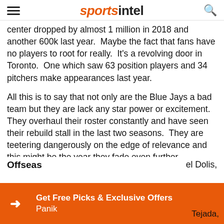sportsintel
center dropped by almost 1 million in 2018 and another 600k last year.  Maybe the fact that fans have no players to root for really.  It's a revolving door in Toronto.  One which saw 63 position players and 34 pitchers make appearances last year.
All this is to say that not only are the Blue Jays a bad team but they are lack any star power or excitement.  They overhaul their roster constantly and have seen their rebuild stall in the last two seasons.  They are teetering dangerously on the edge of relevance and this might be the year they fade even further.
Offseas… el Dolis, Panik… Tejada,
Get Free Picks & Exclusive Offers